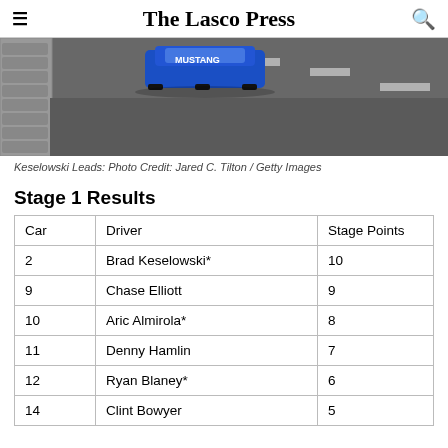The Lasco Press
[Figure (photo): Racing car (blue Mustang) leading on a track, pit lane barrier visible on left, photo credit Jared C. Tilton / Getty Images]
Keselowski Leads: Photo Credit: Jared C. Tilton / Getty Images
Stage 1 Results
| Car | Driver | Stage Points |
| --- | --- | --- |
| 2 | Brad Keselowski* | 10 |
| 9 | Chase Elliott | 9 |
| 10 | Aric Almirola* | 8 |
| 11 | Denny Hamlin | 7 |
| 12 | Ryan Blaney* | 6 |
| 14 | Clint Bowyer... | 5 |